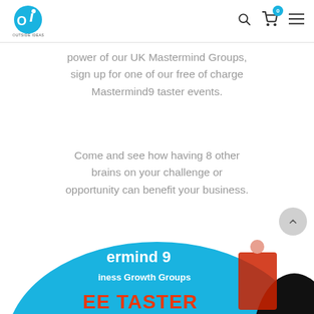Outside Ideas — logo, search, cart (0), menu
power of our UK Mastermind Groups, sign up for one of our free of charge Mastermind9 taster events.
Come and see how having 8 other brains on your challenge or opportunity can benefit your business.
[Figure (illustration): Partially visible circular banner showing 'Mastermind 9 Business Growth Groups FREE TASTER' with a person in red jacket against a blue/sky background]